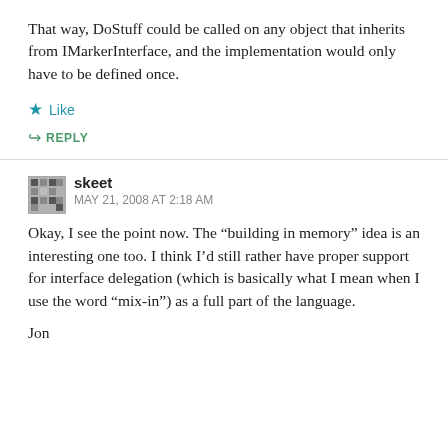That way, DoStuff could be called on any object that inherits from IMarkerInterface, and the implementation would only have to be defined once.
Like
REPLY
skeet
MAY 21, 2008 AT 2:18 AM
Okay, I see the point now. The “building in memory” idea is an interesting one too. I think I’d still rather have proper support for interface delegation (which is basically what I mean when I use the word “mix-in”) as a full part of the language.
Jon